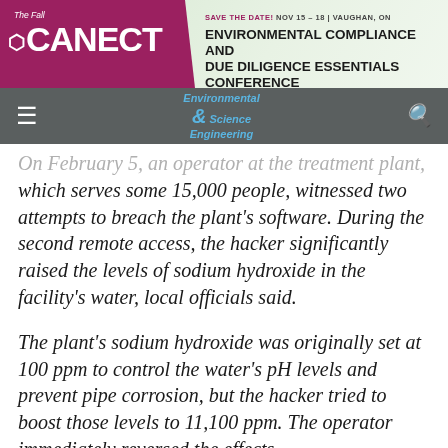[Figure (other): CANECT conference banner ad: Environmental Compliance and Due Diligence Essentials Conference, Save the Date Nov 15-18, Vaughan ON]
Environmental Science & Engineering Magazine — navigation bar with hamburger menu and search icon
On February 5, an operator at the treatment plant, which serves some 15,000 people, witnessed two attempts to breach the plant's software. During the second remote access, the hacker significantly raised the levels of sodium hydroxide in the facility's water, local officials said.
The plant's sodium hydroxide was originally set at 100 ppm to control the water's pH levels and prevent pipe corrosion, but the hacker tried to boost those levels to 11,100 ppm. The operator immediately reversed the effects...